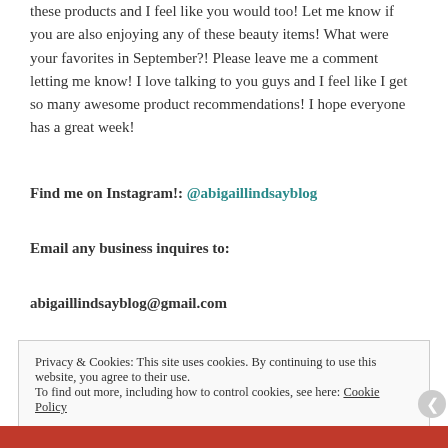these products and I feel like you would too! Let me know if you are also enjoying any of these beauty items! What were your favorites in September?! Please leave me a comment letting me know! I love talking to you guys and I feel like I get so many awesome product recommendations! I hope everyone has a great week!
Find me on Instagram!: @abigaillindsayblog
Email any business inquires to:
abigaillindsayblog@gmail.com
Privacy & Cookies: This site uses cookies. By continuing to use this website, you agree to their use. To find out more, including how to control cookies, see here: Cookie Policy